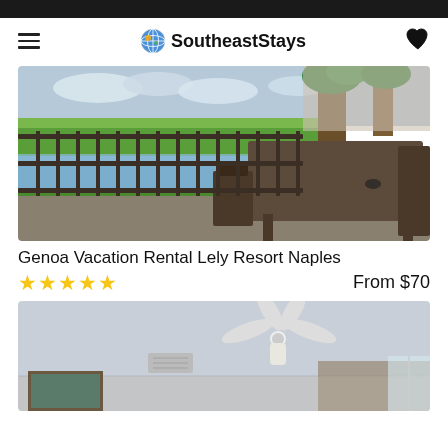SoutheastStays
[Figure (photo): Balcony with outdoor dining table and chairs overlooking a water feature and green landscape with palm trees]
Genoa Vacation Rental Lely Resort Naples
★★★★★  From $70
[Figure (photo): Interior room with white ceiling fan, light blue walls, and patterned wallpaper]